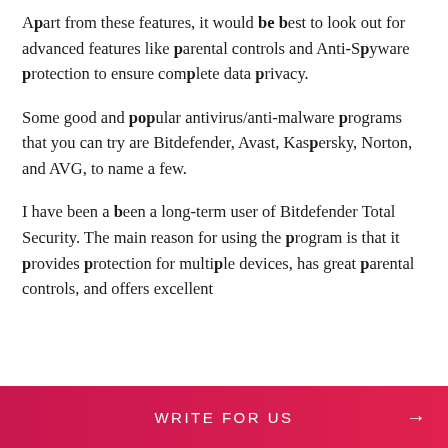Apart from these features, it would be best to look out for advanced features like parental controls and Anti-Spyware protection to ensure complete data privacy.
Some good and popular antivirus/anti-malware programs that you can try are Bitdefender, Avast, Kaspersky, Norton, and AVG, to name a few.
I have been a long-term user of Bitdefender Total Security. The main reason for using the program is that it provides protection for multiple devices, has great parental controls, and offers excellent
WRITE FOR US →